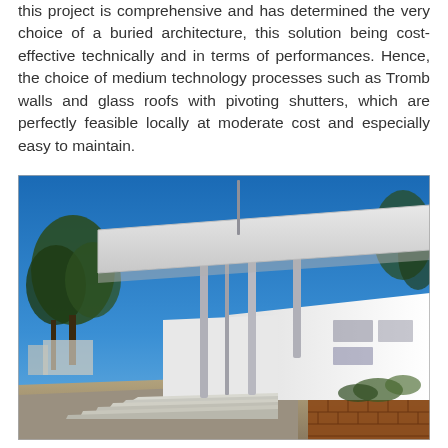this project is comprehensive and has determined the very choice of a buried architecture, this solution being cost-effective technically and in terms of performances. Hence, the choice of medium technology processes such as Tromb walls and glass roofs with pivoting shutters, which are perfectly feasible locally at moderate cost and especially easy to maintain.
[Figure (photo): Exterior photograph of a modern white building with a large flat canopy roof supported by slender columns, steps leading up to the entrance, set against a clear blue sky with trees visible on the left and right sides.]